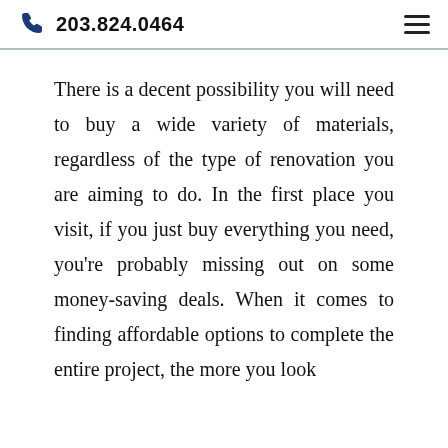203.824.0464
There is a decent possibility you will need to buy a wide variety of materials, regardless of the type of renovation you are aiming to do. In the first place you visit, if you just buy everything you need, you're probably missing out on some money-saving deals. When it comes to finding affordable options to complete the entire project, the more you look